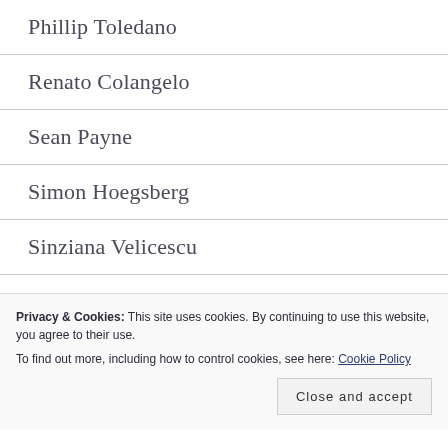Phillip Toledano
Renato Colangelo
Sean Payne
Simon Hoegsberg
Sinziana Velicescu
Susan Fereday
Thomas Lim
Privacy & Cookies: This site uses cookies. By continuing to use this website, you agree to their use.
To find out more, including how to control cookies, see here: Cookie Policy
Close and accept
Galleries